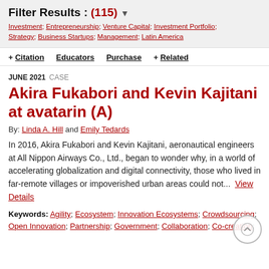Filter Results : (115)
Investment; Entrepreneurship; Venture Capital; Investment Portfolio; Strategy; Business Startups; Management; Latin America
+ Citation   Educators   Purchase   + Related
JUNE 2021  CASE
Akira Fukabori and Kevin Kajitani at avatarin (A)
By: Linda A. Hill and Emily Tedards
In 2016, Akira Fukabori and Kevin Kajitani, aeronautical engineers at All Nippon Airways Co., Ltd., began to wonder why, in a world of accelerating globalization and digital connectivity, those who lived in far-remote villages or impoverished urban areas could not...  View Details
Keywords: Agility; Ecosystem; Innovation Ecosystems; Crowdsourcing; Open Innovation; Partnership; Government; Collaboration; Co-creation;